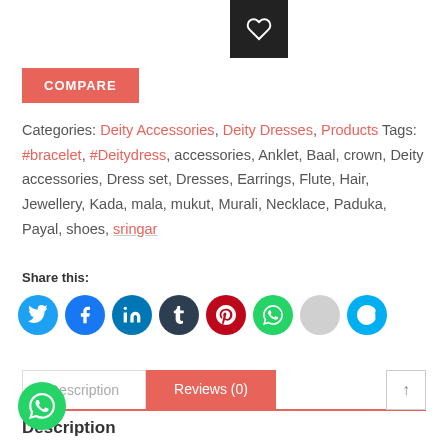[Figure (other): Wishlist heart icon button (dark square background)]
COMPARE
Categories: Deity Accessories, Deity Dresses, Products Tags: #bracelet, #Deitydress, accessories, Anklet, Baal, crown, Deity accessories, Dress set, Dresses, Earrings, Flute, Hair, Jewellery, Kada, mala, mukut, Murali, Necklace, Paduka, Payal, shoes, sringar
Share this:
[Figure (other): Social sharing icons row: Twitter, Facebook, LinkedIn, Tumblr, Pinterest, WhatsApp, grey circle, Skype]
Description
Reviews (0)
Description